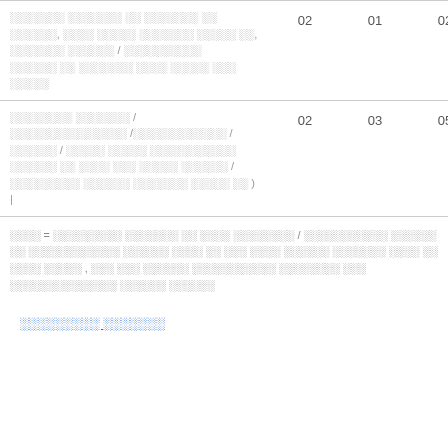|  | 02 | 01 | 02 |
| --- | --- | --- | --- |
| ░░░░░░░ ░░░░░░░ ░░ ░░░░░░░ ░░ ░░░░░░, ░░░░ ░░░░░ ░░░░░░░ ░░░░░ ░░, ░░░░░░░ ░░░░░░ / ░░░░░░░░░░ ░░░░░░ ░░ ░░░░░░░ ░░░░ ░░░░░ ░░░ ░░░░░ | 02 | 01 | 02 |
| ░░░░░░░░ ░░░░░░░ / ░░░░░░░░░░░░░░░ /░░░░░░░░░░░░ / ░░░░░░ / ░░░░░ ░░░░░ ░░░░░░░░░░░ ░░░░░░ ░░ ░░░░ ░░░ ░░░░░ ░░░░░░ / ░░░░░░░░░ ░░░░░░ ░░░░░░░ ░░░░░ ░░ ) | | 02 | 03 | 05 |
░░░░ = ░░░░░░░░░ ░░░░░░░ ░░ ░░░░ ░░░░░░░░ / ░░░░░░░░░░░ ░░░░░░ ░░ ░░░░░░░░░░░░ ░░░░░░ ░░░░ ░░ ░░░ ░░░░ ░░░░░░ ░░░░░░░ ░░░░ ░░ ░░░░ ░░░░░ , ░░░ ░░░ ░░░░░░ ░░░░░░░░░░░ ░░░░░░░░ ░░░ ░░░░░░░░░░░░░░ ░░░░░░ ░░░░░░
░░░░░░░░░ ░░░░░░░